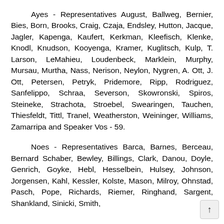Ayes - Representatives August, Ballweg, Bernier, Bies, Born, Brooks, Craig, Czaja, Endsley, Hutton, Jacque, Jagler, Kapenga, Kaufert, Kerkman, Kleefisch, Klenke, Knodl, Knudson, Kooyenga, Kramer, Kuglitsch, Kulp, T. Larson, LeMahieu, Loudenbeck, Marklein, Murphy, Mursau, Murtha, Nass, Nerison, Neylon, Nygren, A. Ott, J. Ott, Petersen, Petryk, Pridemore, Ripp, Rodriguez, Sanfelippo, Schraa, Severson, Skowronski, Spiros, Steineke, Strachota, Stroebel, Swearingen, Tauchen, Thiesfeldt, Tittl, Tranel, Weatherston, Weininger, Williams, Zamarripa and Speaker Vos - 59.
Noes - Representatives Barca, Barnes, Berceau, Bernard Schaber, Bewley, Billings, Clark, Danou, Doyle, Genrich, Goyke, Hebl, Hesselbein, Hulsey, Johnson, Jorgensen, Kahl, Kessler, Kolste, Mason, Milroy, Ohnstad, Pasch, Pope, Richards, Riemer, Ringhand, Sargent, Shankland, Sinicki, Smith,